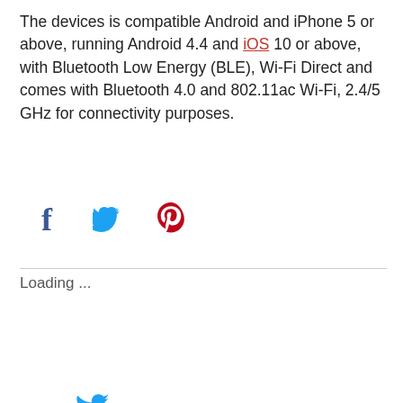The devices is compatible Android and iPhone 5 or above, running Android 4.4 and iOS 10 or above, with Bluetooth Low Energy (BLE), Wi-Fi Direct and comes with Bluetooth 4.0 and 802.11ac Wi-Fi, 2.4/5 GHz for connectivity purposes.
[Figure (other): Social share icons: Facebook (f), Twitter (bird), Pinterest (P)]
Loading ...